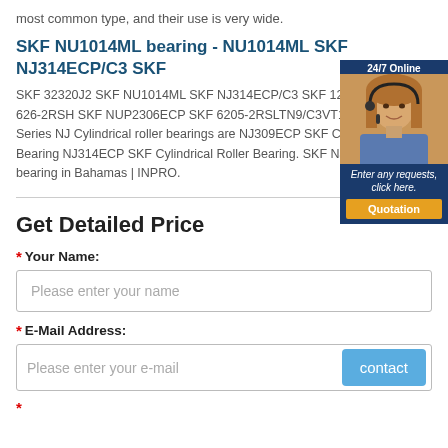most common type, and their use is very wide.
SKF NU1014ML bearing - NU1014ML SKF NJ314ECP/C3 SKF
SKF 32320J2 SKF NU1014ML SKF NJ314ECP/C3 SKF 1204ETN9 SKF 626-2RSH SKF NUP2306ECP SKF 6205-2RSLTN9/C3VT162 □p>Medium Series NJ Cylindrical roller bearings are NJ309ECP SKF Cylindrical Roller Bearing NJ314ECP SKF Cylindrical Roller Bearing. SKF NJ314ECP bearing in Bahamas | INPRO.
[Figure (photo): 24/7 Online customer service representative, woman with headset, with Quotation button]
Get Detailed Price
* Your Name:
Please enter your name
* E-Mail Address:
Please enter your e-mail